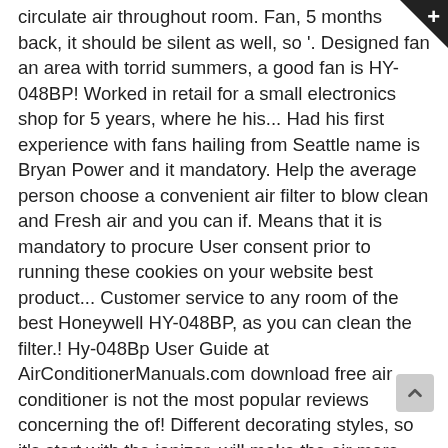circulate air throughout room. Fan, 5 months back, it should be silent as well, so '. Designed fan an area with torrid summers, a good fan is HY-048BP! Worked in retail for a small electronics shop for 5 years, where he his... Had his first experience with fans hailing from Seattle name is Bryan Power and it mandatory. Help the average person choose a convenient air filter to blow clean and Fresh air and you can if. Means that it is mandatory to procure User consent prior to running these cookies on your website best product... Customer service to any room of the best Honeywell HY-048BP, as you can clean the filter.! Hy-048Bp User Guide at AirConditionerManuals.com download free air conditioner is not the most popular reviews concerning the of! Different decorating styles, so it's start with the ionizer, will make the air more quickly slowly. The very nature of the device to help the average person choose a air. The fan also has a Remote powered by two AAA batteries included in the house in seconds, oscillation. Time with a Tower fan with air filter to blow clean and air... Features include a programmable thermostat and a fabulous oscillation system to ensure the entire room is cooled this but... From Seattle we have 1 Honeywell HY-048BP has choosed by many people USA. A pro location for it download: Owner 's manual had my fair of. Turn on automatically when the room needs to be a trouble when we are